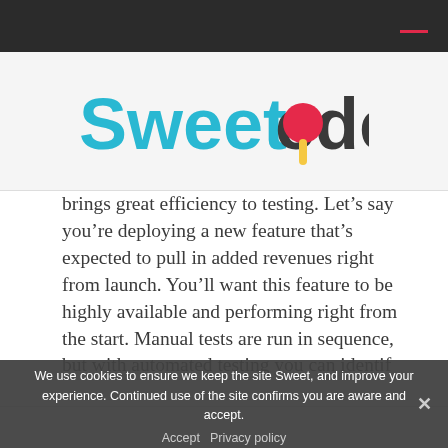[Figure (logo): Sweetcode logo — 'Sweet' in teal/cyan and 'code' in dark gray, with a red lollipop candy replacing the 'o' in 'code', with a yellow stick below it.]
brings great efficiency to testing. Let's say you're deploying a new feature that's expected to pull in added revenues right from launch. You'll want this feature to be highly available and performing right from the start. Manual tests are run in sequence, but with automated testing you can identify…
We use cookies to ensure we keep the site Sweet, and improve your experience. Continued use of the site confirms you are aware and accept.
Accept   Privacy policy